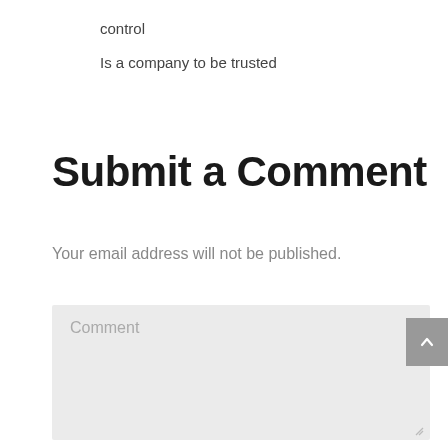control
Is a company to be trusted
Submit a Comment
Your email address will not be published.
Comment